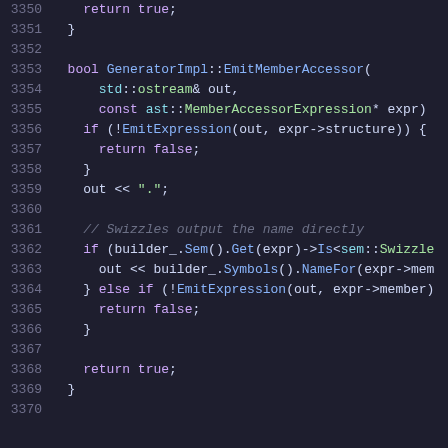Code listing lines 3350-3370: C++ source code for GeneratorImpl::EmitMemberAccessor function